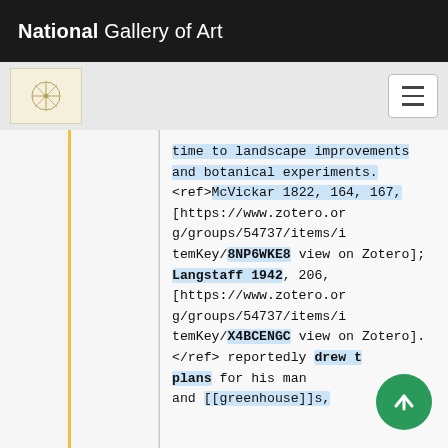National Gallery of Art
time to landscape improvements and botanical experiments. <ref>McVickar 1822, 164, 167, [https://www.zotero.org/groups/54737/items/itemKey/8NP6WKE8 view on Zotero]; Langstaff 1942, 206, [https://www.zotero.org/groups/54737/items/itemKey/X4BCENGC view on Zotero].</ref> reportedly drew the plans for his mansion and [[greenhouse]]s,
[Figure (screenshot): Scroll to top button (green circle with upward arrow)]